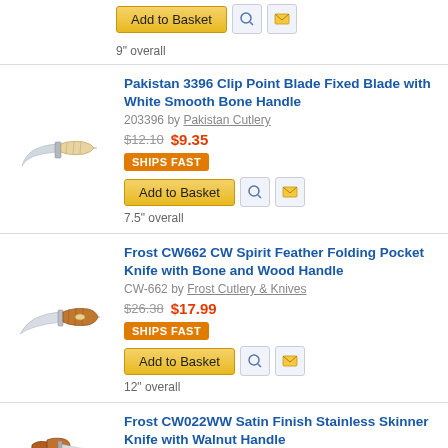[Figure (photo): Partial product row at top showing Add to Basket button and 9" overall text]
9" overall
[Figure (photo): Pakistan knife with bone handle]
Pakistan 3396 Clip Point Blade Fixed Blade with White Smooth Bone Handle
203396 by Pakistan Cutlery
$12.10  $9.35
SHIPS FAST
Add to Basket
7.5" overall
[Figure (photo): Frost CW662 folding pocket knife with bone and wood handle]
Frost CW662 CW Spirit Feather Folding Pocket Knife with Bone and Wood Handle
CW-662 by Frost Cutlery & Knives
$26.38  $17.99
SHIPS FAST
Add to Basket
12" overall
[Figure (photo): Frost CW022WW satin finish stainless skinner knife with walnut handle in sheath]
Frost CW022WW Satin Finish Stainless Skinner Knife with Walnut Handle
CW-022WW by Frost Cutlery & Knives
$24.18  $16.49
Add to Basket